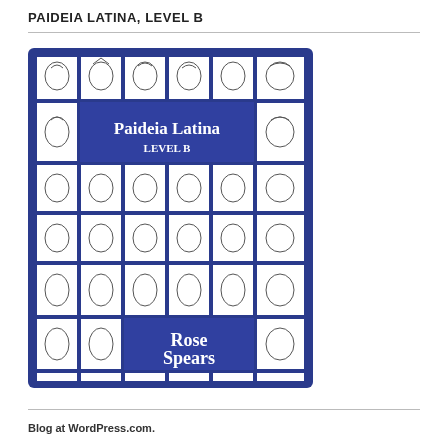PAIDEIA LATINA, LEVEL B
[Figure (illustration): Book cover of Paideia Latina Level B by Rose Spears. Dark blue/purple border containing a grid of black-and-white line drawings of classical Roman and Greek heads/busts with various hairstyles and headwear. Center left area has a dark blue banner reading 'Paideia Latina LEVEL B' in white text. Bottom center has a dark blue banner reading 'Rose Spears' in white text.]
Blog at WordPress.com.